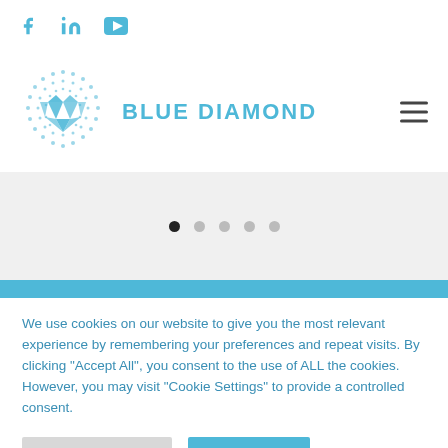f  in  ▶
[Figure (logo): Blue Diamond logo: a blue diamond gem inside a dotted globe pattern, with text 'BLUE DIAMOND' in blue]
[Figure (other): Slider navigation dots: one filled black dot (active) followed by four grey dots]
We use cookies on our website to give you the most relevant experience by remembering your preferences and repeat visits. By clicking "Accept All", you consent to the use of ALL the cookies. However, you may visit "Cookie Settings" to provide a controlled consent.
Cookie Settings  |  Accept All